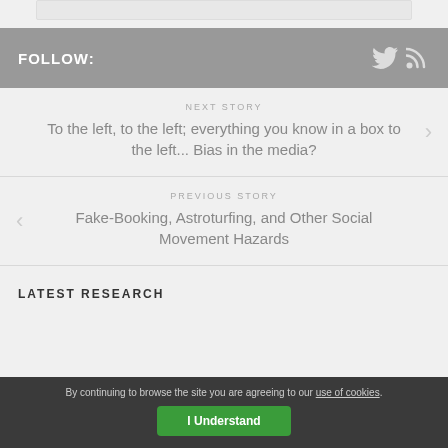FOLLOW:
NEXT STORY
To the left, to the left; everything you know in a box to the left... Bias in the media?
PREVIOUS STORY
Fake-Booking, Astroturfing, and Other Social Movement Hazards
LATEST RESEARCH
By continuing to browse the site you are agreeing to our use of cookies.
I Understand